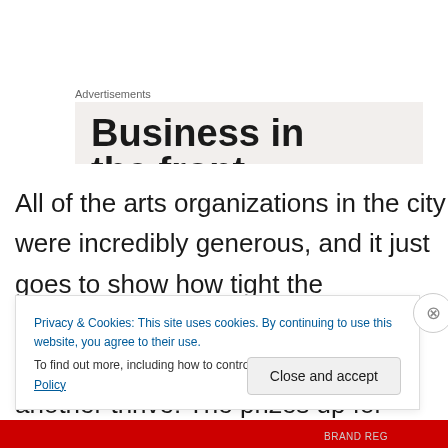Advertisements
[Figure (other): Advertisement banner with bold text 'Business in the front' on a light beige/grey background, partially visible (cropped at bottom)]
All of the arts organizations in the city were incredibly generous, and it just goes to show how tight the community really is. We all support each other, and want to see one another thrive! The prizes up for grabs from the
Privacy & Cookies: This site uses cookies. By continuing to use this website, you agree to their use.
To find out more, including how to control cookies, see here: Cookie Policy
Close and accept